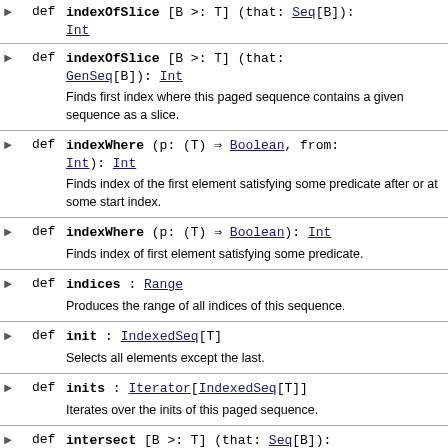def indexOfSlice [B >: T] (that: Seq[B]): Int — (top, partial)
def indexOfSlice [B >: T] (that: GenSeq[B]): Int — Finds first index where this paged sequence contains a given sequence as a slice.
def indexWhere (p: (T) => Boolean, from: Int): Int — Finds index of the first element satisfying some predicate after or at some start index.
def indexWhere (p: (T) => Boolean): Int — Finds index of first element satisfying some predicate.
def indices : Range — Produces the range of all indices of this sequence.
def init : IndexedSeq[T] — Selects all elements except the last.
def inits : Iterator[IndexedSeq[T]] — Iterates over the inits of this paged sequence.
def intersect [B >: T] (that: Seq[B]): IndexedSeq[T] — (partial)